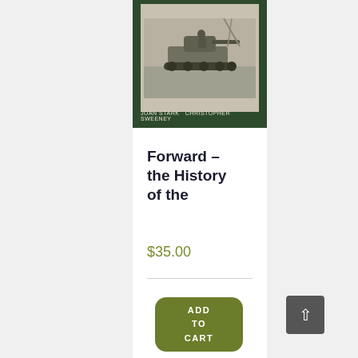[Figure (photo): Book cover with dark green border, grayscale photograph of a military tank, and author names 'JOAN STARK  CHRISTOPHER SWEENEY' at the bottom]
Forward – the History of the
$35.00
ADD TO CART